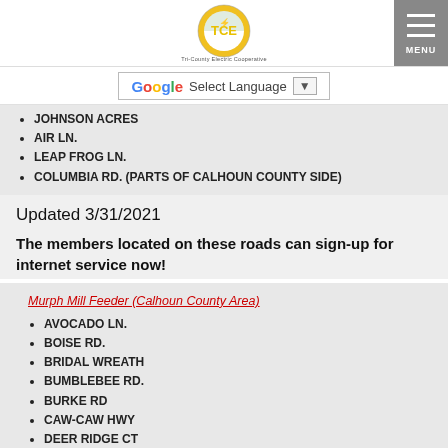[Figure (logo): Tri-County Electric Cooperative (TCE) circular logo in yellow and green with a lightning bolt figure]
[Figure (screenshot): Gray MENU button with three horizontal white bars (hamburger icon) and MENU text]
[Figure (screenshot): Google Translate Select Language dropdown widget]
JOHNSON ACRES
AIR LN.
LEAP FROG LN.
COLUMBIA RD. (PARTS OF CALHOUN COUNTY SIDE)
Updated 3/31/2021
The members located on these roads can sign-up for internet service now!
Murph Mill Feeder (Calhoun County Area)
AVOCADO LN.
BOISE RD.
BRIDAL WREATH
BUMBLEBEE RD.
BURKE RD
CAW-CAW HWY
DEER RIDGE CT